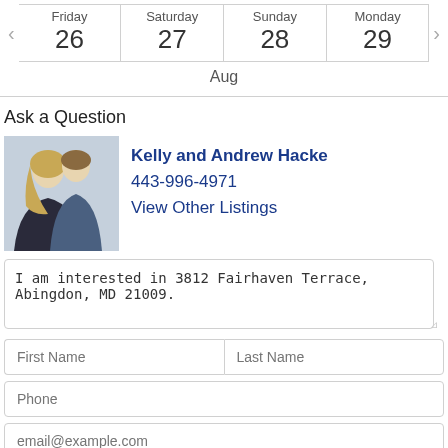| Friday 26 | Saturday 27 | Sunday 28 | Monday 29 |
| --- | --- | --- | --- |
Aug
Ask a Question
[Figure (photo): Photo of Kelly and Andrew Hacke, a couple in professional attire]
Kelly and Andrew Hacke
443-996-4971
View Other Listings
I am interested in 3812 Fairhaven Terrace, Abingdon, MD 21009.
First Name
Last Name
Phone
email@example.com